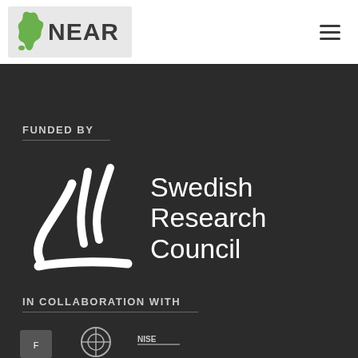[Figure (logo): NEAR logo with green Sweden map shape and 'NEAR' text on grey background, plus hamburger menu icon]
FUNDED BY
[Figure (logo): Swedish Research Council logo — white abstract brushstroke mark on dark background with text 'Swedish Research Council']
IN COLLABORATION WITH
[Figure (logo): Partial collaboration logos at bottom, cut off]